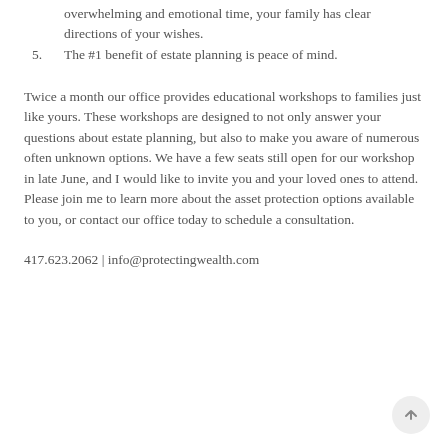overwhelming and emotional time, your family has clear directions of your wishes.
5. The #1 benefit of estate planning is peace of mind.
Twice a month our office provides educational workshops to families just like yours. These workshops are designed to not only answer your questions about estate planning, but also to make you aware of numerous often unknown options. We have a few seats still open for our workshop in late June, and I would like to invite you and your loved ones to attend. Please join me to learn more about the asset protection options available to you, or contact our office today to schedule a consultation.
417.623.2062 | info@protectingwealth.com